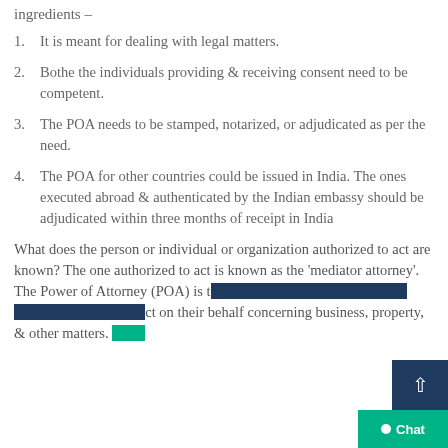ingredients –
1. It is meant for dealing with legal matters.
2. Bothe the individuals providing & receiving consent need to be competent.
3. The POA needs to be stamped, notarized, or adjudicated as per the need.
4. The POA for other countries could be issued in India. The ones executed abroad & authenticated by the Indian embassy should be adjudicated within three months of receipt in India
What does the person or individual or organization authorized to act are known? The one authorized to act is known as the 'mediator attorney'. The Power of Attorney (POA) is the legitimate document providing power to someone to act on their behalf concerning business, property, & other matters. Some